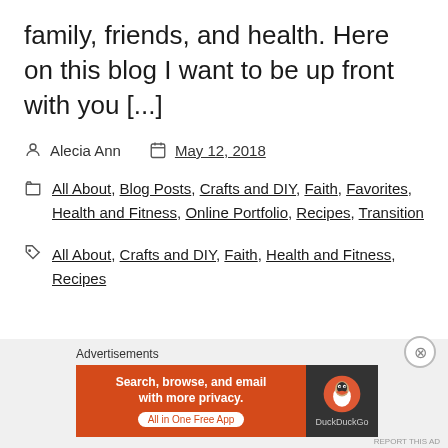family, friends, and health. Here on this blog I want to be up front with you [...]
Alecia Ann  May 12, 2018
All About, Blog Posts, Crafts and DIY, Faith, Favorites, Health and Fitness, Online Portfolio, Recipes, Transition
All About, Crafts and DIY, Faith, Health and Fitness, Recipes
Advertisements
[Figure (screenshot): DuckDuckGo advertisement banner: orange left panel with text 'Search, browse, and email with more privacy. All in One Free App' and dark right panel with DuckDuckGo duck logo and brand name.]